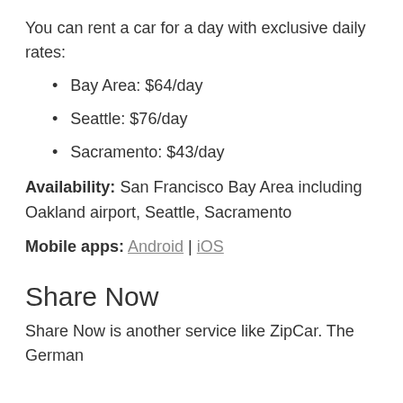You can rent a car for a day with exclusive daily rates:
Bay Area: $64/day
Seattle: $76/day
Sacramento: $43/day
Availability: San Francisco Bay Area including Oakland airport, Seattle, Sacramento
Mobile apps: Android | iOS
Share Now
Share Now is another service like ZipCar. The German